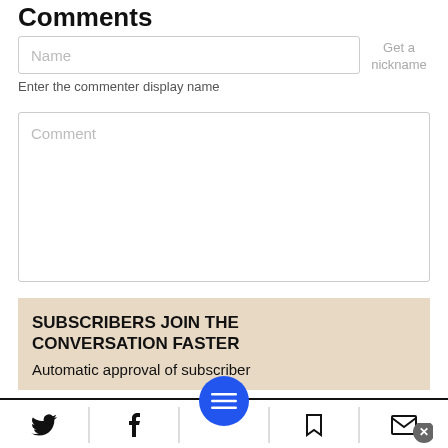Comments
Name
Get a nickname
Enter the commenter display name
Comment
SUBSCRIBERS JOIN THE CONVERSATION FASTER
Automatic approval of subscriber
[Figure (screenshot): Bottom navigation bar with Twitter, Facebook, hamburger menu (blue circle), bookmark, and mail icons]
[Figure (screenshot): Advertisement banner: Firestone Tire Offer - Virginia Tire & Auto of Ashburn, with close button]